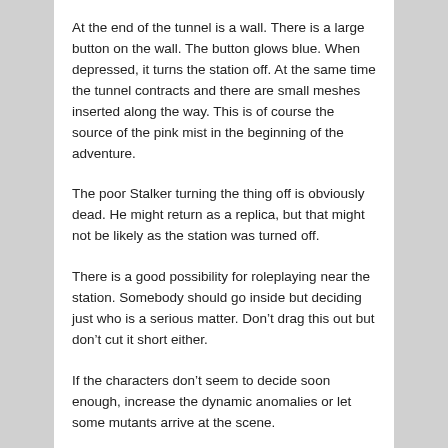At the end of the tunnel is a wall. There is a large button on the wall. The button glows blue. When depressed, it turns the station off. At the same time the tunnel contracts and there are small meshes inserted along the way. This is of course the source of the pink mist in the beginning of the adventure.
The poor Stalker turning the thing off is obviously dead. He might return as a replica, but that might not be likely as the station was turned off.
There is a good possibility for roleplaying near the station. Somebody should go inside but deciding just who is a serious matter. Don’t drag this out but don’t cut it short either.
If the characters don’t seem to decide soon enough, increase the dynamic anomalies or let some mutants arrive at the scene.